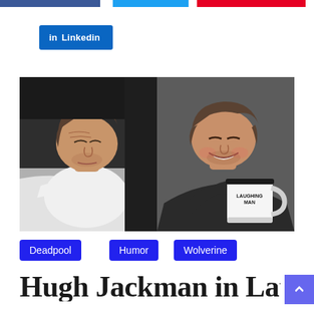[Figure (screenshot): Social share buttons at top: Facebook (blue), Twitter (light blue), Pinterest (red)]
[Figure (screenshot): LinkedIn share button in blue with 'in' icon and text 'Linkedin']
[Figure (photo): Two side-by-side photos of Hugh Jackman: left photo shows him lying in bed with eyes closed and white t-shirt; right photo shows him smiling and holding a 'Laughing Man' coffee mug wearing a black shirt]
Deadpool
Humor
Wolverine
Hugh Jackman in Laughing